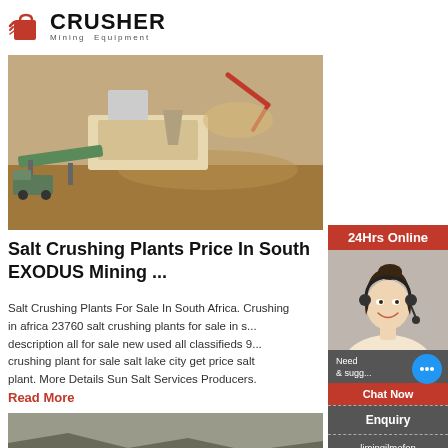CRUSHER Mining Equipment
[Figure (photo): Aerial view of a mobile crushing plant / mining equipment on a dirt construction site, with an excavator loading material]
Salt Crushing Plants Price In South EXODUS Mining ...
Salt Crushing Plants For Sale In South Africa. Crushing in africa 23760 salt crushing plants for sale in s description all for sale new used all classifieds 9 crushing plant for sale salt lake city get price sa plant. More Details Sun Salt Services Producers.
Read More
[Figure (photo): Landscape photo of a mining site with terrain, small structures and machinery visible in a desert/arid setting]
[Figure (photo): Right sidebar: woman with headset smiling, customer service representative, with 24Hrs Online banner, Need & suggestions chat bubble, Chat Now button, Enquiry section, and email limingjlmofen@sina.com]